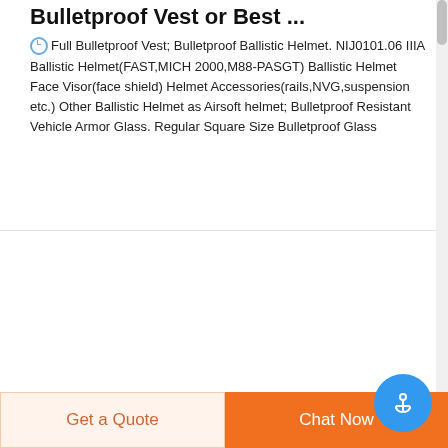Bulletproof Vest or Best ...
Full Bulletproof Vest; Bulletproof Ballistic Helmet. NIJ0101.06 IIIA Ballistic Helmet(FAST,MICH 2000,M88-PASGT) Ballistic Helmet Face Visor(face shield) Helmet Accessories(rails,NVG,suspension etc.) Other Ballistic Helmet as Airsoft helmet; Bulletproof Resistant Vehicle Armor Glass. Regular Square Size Bulletproof Glass
[Figure (logo): DEEKON brand logo with circular camouflage design and red D letter, with DEEKON text in bold red below]
[Figure (photo): High-visibility safety vest in lime green with orange and silver reflective stripes, shown from the front]
Get a Quote
Chat Now